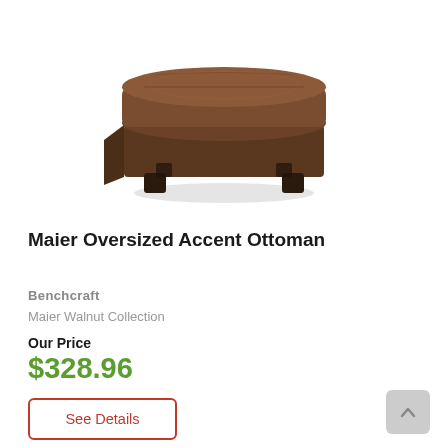[Figure (photo): Brown upholstered oversized accent ottoman with dark wooden legs, square shape, viewed from a slightly elevated angle on white background]
Maier Oversized Accent Ottoman
Benchcraft
Maier Walnut Collection
Our Price
$328.96
See Details